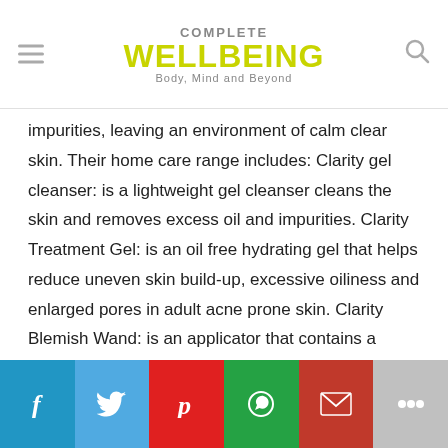COMPLETE WELLBEING Body, Mind and Beyond
impurities, leaving an environment of calm clear skin. Their home care range includes: Clarity gel cleanser: is a lightweight gel cleanser cleans the skin and removes excess oil and impurities. Clarity Treatment Gel: is an oil free hydrating gel that helps reduce uneven skin build-up, excessive oiliness and enlarged pores in adult acne prone skin. Clarity Blemish Wand: is an applicator that contains a concentrated formula to target specific blemishes. A blend of actives, this helps to reduce the visible effects of ageing without excessive dryness or flaking. The tip is designed to be replaced daily to avoid contamination.
Price: INR 2500 onwards
[Figure (other): Social sharing bar with Facebook, Twitter, Pinterest, WhatsApp, Gmail, and More buttons]